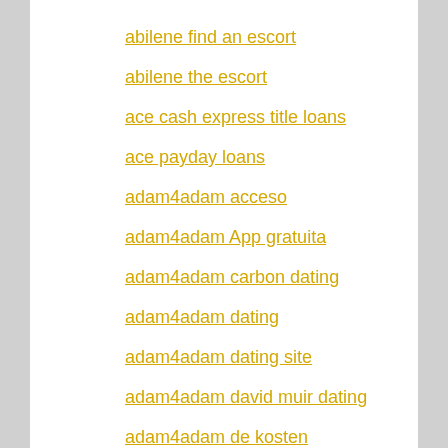abilene find an escort
abilene the escort
ace cash express title loans
ace payday loans
adam4adam acceso
adam4adam App gratuita
adam4adam carbon dating
adam4adam dating
adam4adam dating site
adam4adam david muir dating
adam4adam de kosten